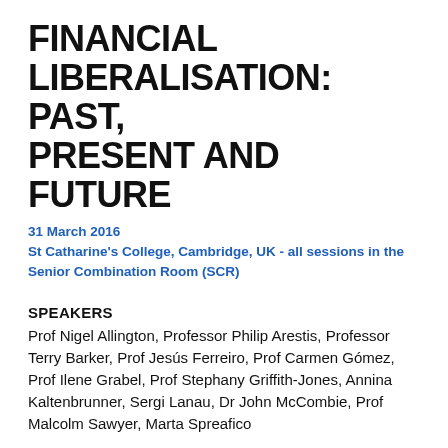FINANCIAL LIBERALISATION: PAST, PRESENT AND FUTURE
31 March 2016
St Catharine's College, Cambridge, UK - all sessions in the Senior Combination Room (SCR)
SPEAKERS
Prof Nigel Allington, Professor Philip Arestis, Professor Terry Barker, Prof Jesús Ferreiro, Prof Carmen Gómez, Prof Ilene Grabel, Prof Stephany Griffith-Jones, Annina Kaltenbrunner, Sergi Lanau, Dr John McCombie, Prof Malcolm Sawyer, Marta Spreafico